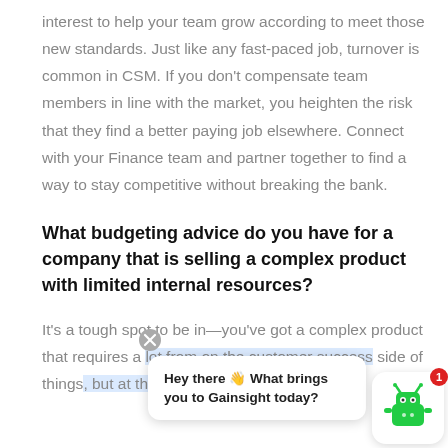interest to help your team grow according to meet those new standards. Just like any fast-paced job, turnover is common in CSM. If you don't compensate team members in line with the market, you heighten the risk that they find a better paying job elsewhere. Connect with your Finance team and partner together to find a way to stay competitive without breaking the bank.
What budgeting advice do you have for a company that is selling a complex product with limited internal resources?
It's a tough spot to be in—you've got a complex product that requires a lot from on the customer success side of things, but at the same time, you've got a lim
[Figure (screenshot): Chat widget overlay at bottom right. Shows a close button (X), a speech bubble with text 'Hey there 👋 What brings you to Gainsight today?', and a green robot icon with a red badge showing '1'.]